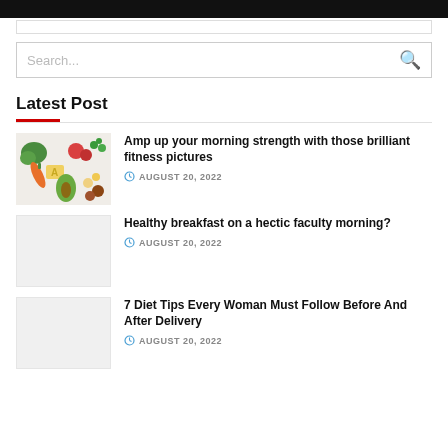Latest Post
Amp up your morning strength with those brilliant fitness pictures
AUGUST 20, 2022
Healthy breakfast on a hectic faculty morning?
AUGUST 20, 2022
7 Diet Tips Every Woman Must Follow Before And After Delivery
AUGUST 20, 2022